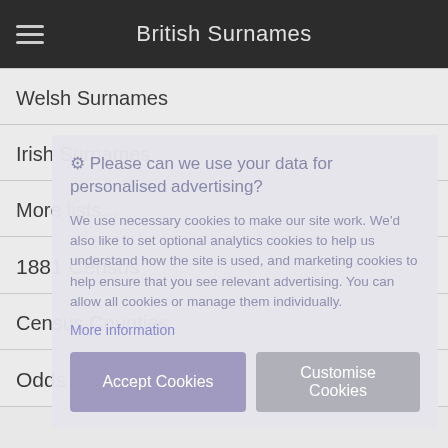British Surnames
Welsh Surnames
Irish Surnames
More lists...
1881 Census
Census Counties
⚙ Please can we use your data for personalised advertising?

We use necessary cookies to make our site work. We’d also like to set optional analytics cookies to help us understand how the site is used, and marketing cookies to help ensure that you see relevant advertising. You can allow all cookies or manage them individually.
More information
Accept Cookies   Customise Cookies
Odds and Ends